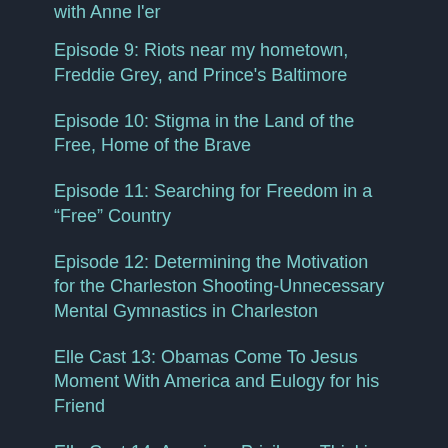with Anne l'er
Episode 9: Riots near my hometown, Freddie Grey, and Prince's Baltimore
Episode 10: Stigma in the Land of the Free, Home of the Brave
Episode 11: Searching for Freedom in a “Free” Country
Episode 12: Determining the Motivation for the Charleston Shooting-Unnecessary Mental Gymnastics in Charleston
Elle Cast 13: Obamas Come To Jesus Moment With America and Eulogy for his Friend
Elle Cast 14: American Privilege: Thinking Outside...